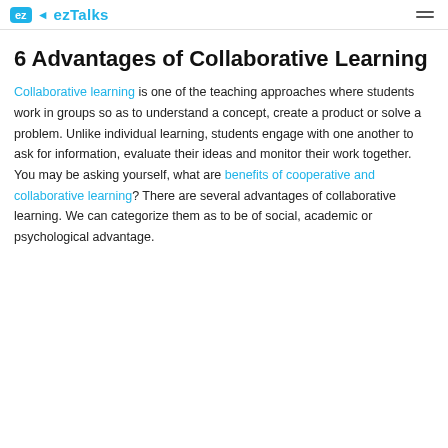ezTalks
6 Advantages of Collaborative Learning
Collaborative learning is one of the teaching approaches where students work in groups so as to understand a concept, create a product or solve a problem. Unlike individual learning, students engage with one another to ask for information, evaluate their ideas and monitor their work together. You may be asking yourself, what are benefits of cooperative and collaborative learning? There are several advantages of collaborative learning. We can categorize them as to be of social, academic or psychological advantage.